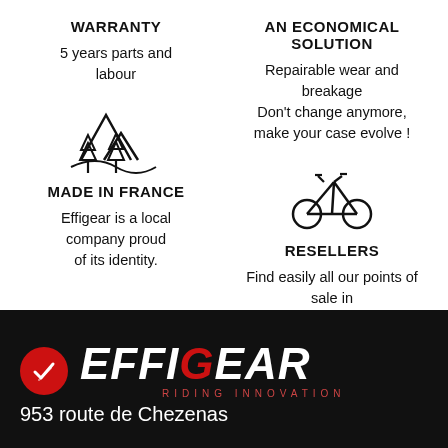WARRANTY
5 years parts and labour
AN ECONOMICAL SOLUTION
Repairable wear and breakage
Don't change anymore, make your case evolve !
[Figure (illustration): Mountain/forest icon with peaks and trees]
MADE IN FRANCE
Effigear is a local company proud of its identity.
[Figure (illustration): Bicycle frame/geometry icon]
RESELLERS
Find easily all our points of sale in the world.
[Figure (logo): Effigear logo with RIDING INNOVATION tagline and red checkmark badge]
953 route de Chezenas